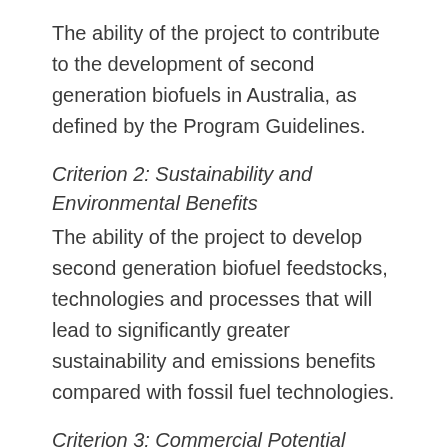The ability of the project to contribute to the development of second generation biofuels in Australia, as defined by the Program Guidelines.
Criterion 2: Sustainability and Environmental Benefits
The ability of the project to develop second generation biofuel feedstocks, technologies and processes that will lead to significantly greater sustainability and emissions benefits compared with fossil fuel technologies.
Criterion 3: Commercial Potential
The long term cost competitiveness and